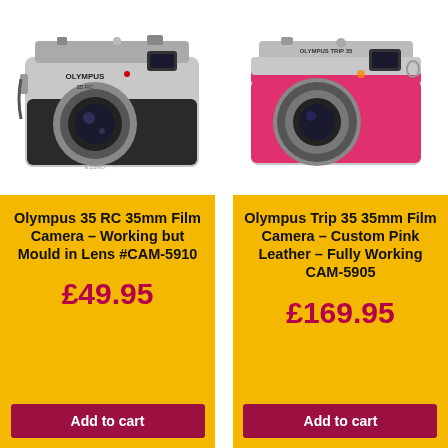[Figure (photo): Olympus 35 RC 35mm film camera, silver and black body, front view on white background]
[Figure (photo): Olympus Trip 35 35mm film camera with custom pink leather, front view on white background]
Olympus 35 RC 35mm Film Camera – Working but Mould in Lens #CAM-5910
£49.95
Add to cart
Olympus Trip 35 35mm Film Camera – Custom Pink Leather – Fully Working CAM-5905
£169.95
Add to cart